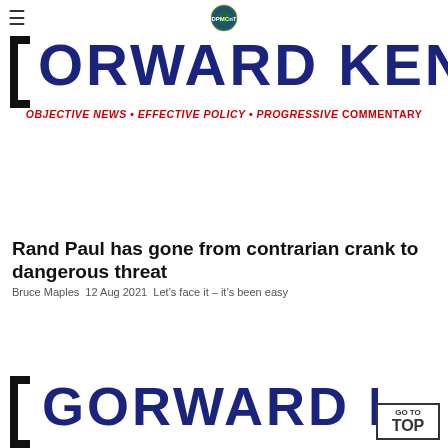≡  [DPMCnT logo]
[Figure (logo): Forward Kentucky masthead with large bold blue text 'ORWARD KENTUCKY' (partial, cropped), red subtitle 'Objective News • Effective Policy • Progressive Commentary', and black square bracket icon]
Rand Paul has gone from contrarian crank to dangerous threat
Bruce Maples  12 Aug 2021  Let's face it – it's been easy
[Figure (logo): Bottom partial Forward Kentucky masthead showing 'GORWARD KENTUC' in large bold blue text, partially cropped, with black bracket icon on left and 'GO TO TOP' button on right]